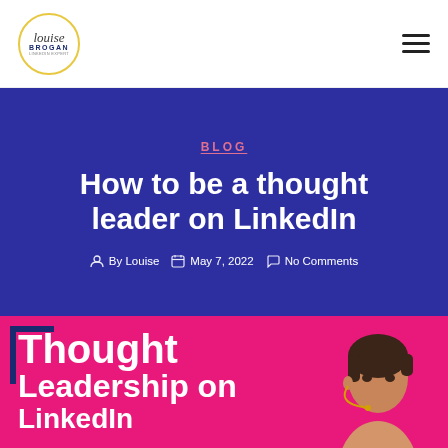Louise Brogan logo and navigation menu
BLOG
How to be a thought leader on LinkedIn
By Louise   May 7, 2022   No Comments
[Figure (photo): Promotional blog header image with hot pink background showing text 'Thought Leadership on LinkedIn' with a photo of a dark-haired woman speaking with a headset microphone, and a dark blue corner bracket decoration.]